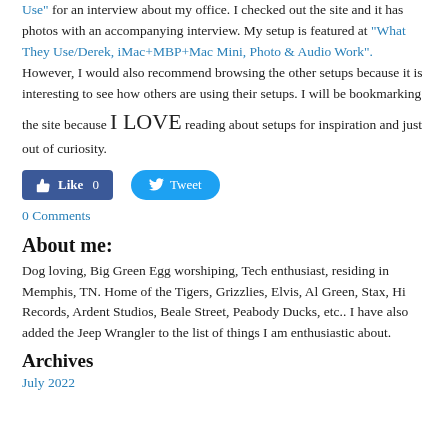Use" for an interview about my office. I checked out the site and it has photos with an accompanying interview. My setup is featured at "What They Use/Derek, iMac+MBP+Mac Mini, Photo & Audio Work". However, I would also recommend browsing the other setups because it is interesting to see how others are using their setups. I will be bookmarking the site because I LOVE reading about setups for inspiration and just out of curiosity.
[Figure (other): Facebook Like button (count 0) and Twitter Tweet button]
0 Comments
About me:
Dog loving, Big Green Egg worshiping, Tech enthusiast, residing in Memphis, TN. Home of the Tigers, Grizzlies, Elvis, Al Green, Stax, Hi Records, Ardent Studios, Beale Street, Peabody Ducks, etc.. I have also added the Jeep Wrangler to the list of things I am enthusiastic about.
Archives
July 2022